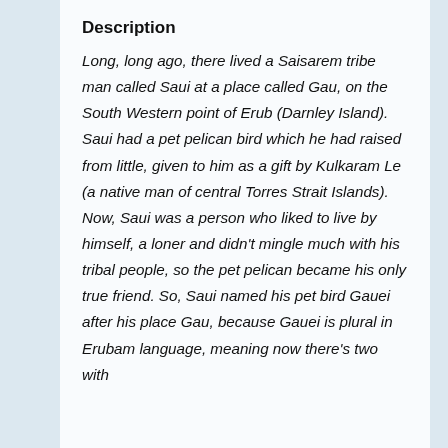Description
Long, long ago, there lived a Saisarem tribe man called Saui at a place called Gau, on the South Western point of Erub (Darnley Island).  Saui had a pet pelican bird which he had raised from little, given to him as a gift by Kulkaram Le (a native man of central Torres Strait Islands).  Now, Saui was a person who liked to live by himself, a loner and didn't mingle much with his tribal people, so the pet pelican became his only true friend.  So, Saui named his pet bird Gauei after his place Gau, because Gauei is plural in Erubam language, meaning now there's two with